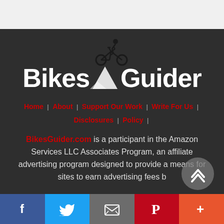[Figure (logo): BikesGuider logo with cyclist silhouette on mountain, white bold text on dark background]
Home | About | Support Our Work | Write For Us | Disclosures | Policy |
BikesGuider.com is a participant in the Amazon Services LLC Associates Program, an affiliate advertising program designed to provide a means for sites to earn advertising fees b
[Figure (infographic): Social media share bar with Facebook, Twitter, Email, Pinterest, and More buttons]